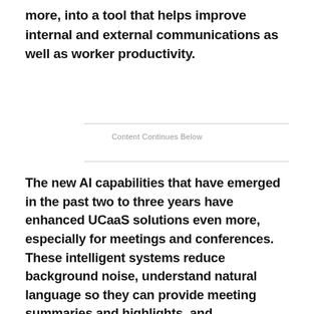more, into a tool that helps improve internal and external communications as well as worker productivity.
Content Continues Below
The new AI capabilities that have emerged in the past two to three years have enhanced UCaaS solutions even more, especially for meetings and conferences. These intelligent systems reduce background noise, understand natural language so they can provide meeting summaries and highlights, and automatically assign tasks to meeting attendees based on conversations.